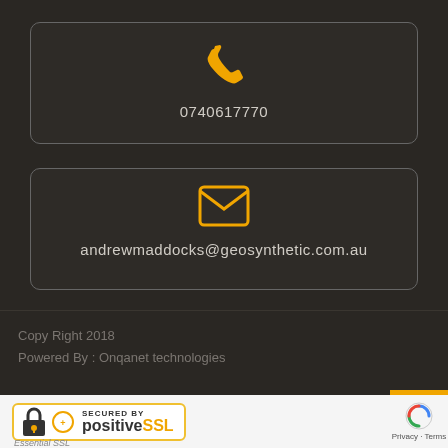[Figure (infographic): Orange phone icon inside a rounded dark rectangle border]
0740617770
[Figure (infographic): Orange envelope/mail icon inside a rounded dark rectangle border]
andrewmaddocks@geosynthetic.com.au
Copy Right 2018
Powered By : Onqanet technologies
[Figure (logo): Secured by positiveSSL badge with lock icon and yellow border]
Essential SSL